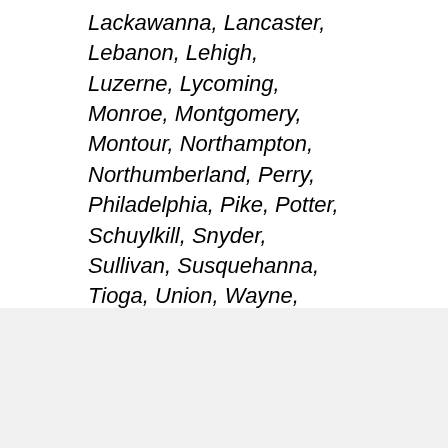Lackawanna, Lancaster, Lebanon, Lehigh, Luzerne, Lycoming, Monroe, Montgomery, Montour, Northampton, Northumberland, Perry, Philadelphia, Pike, Potter, Schuylkill, Snyder, Sullivan, Susquehanna, Tioga, Union, Wayne, Wyoming, and York)
Rhode Island
Northeast Marketing